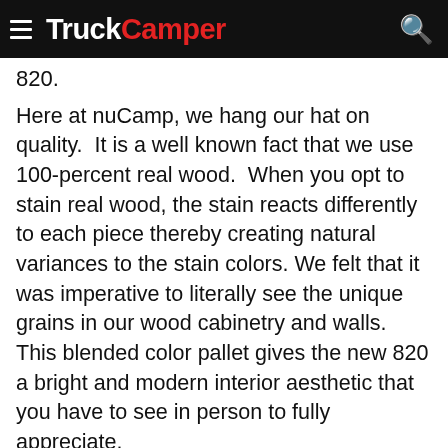TruckCamper
820.
Here at nuCamp, we hang our hat on quality.  It is a well known fact that we use 100-percent real wood.  When you opt to stain real wood, the stain reacts differently to each piece thereby creating natural variances to the stain colors. We felt that it was imperative to literally see the unique grains in our wood cabinetry and walls.  This blended color pallet gives the new 820 a bright and modern interior aesthetic that you have to see in person to fully appreciate.
[Figure (photo): Interior photo showing wood cabinetry panels and ceiling of a truck camper, with a circular vent or fixture visible on the right side.]